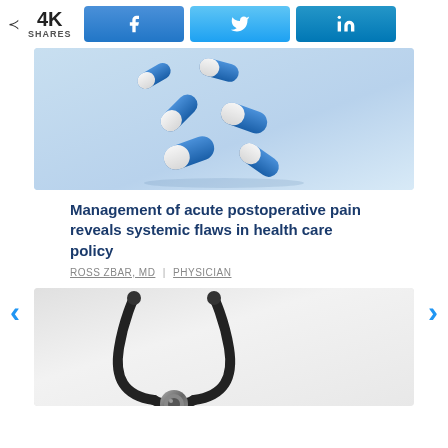4K SHARES
[Figure (photo): Blue and white capsule pills floating on a light blue background]
Management of acute postoperative pain reveals systemic flaws in health care policy
ROSS ZBAR, MD | PHYSICIAN
[Figure (photo): A stethoscope on a white/grey background]